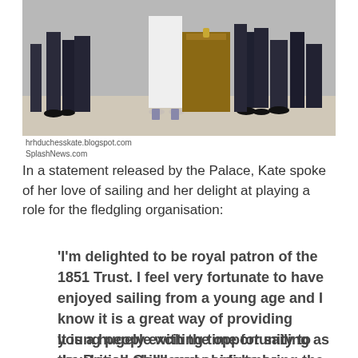[Figure (photo): Group of people standing outdoors, showing legs and feet; a woman in white dress and heels is prominent in the center; people in dark formal attire surround her; a large brown trunk/suitcase is visible in the background.]
hrhduchesskata.blogspot.com
SplashNews.com
In a statement released by the Palace, Kate spoke of her love of sailing and her delight at playing a role for the fledgling organisation:
'I'm delighted to be royal patron of the 1851 Trust. I feel very fortunate to have enjoyed sailing from a young age and I know it is a great way of providing young people with the opportunity to developed skills and confidence.
It is a hugely exciting time for sailing as the British Challenger bids to bring the America's